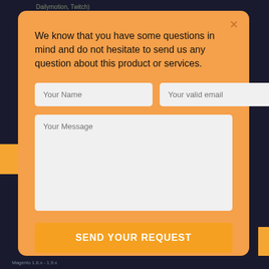Dailymotion, Twitch)
[Figure (screenshot): Contact form modal overlay on an e-commerce website with orange background, containing fields for name, email, message, and a send button]
We know that you have some questions in mind and do not hesitate to send us any question about this product or services.
Your Name
Your valid email
Your Message
SEND YOUR REQUEST
Magento 1.6.x - 1.9.x